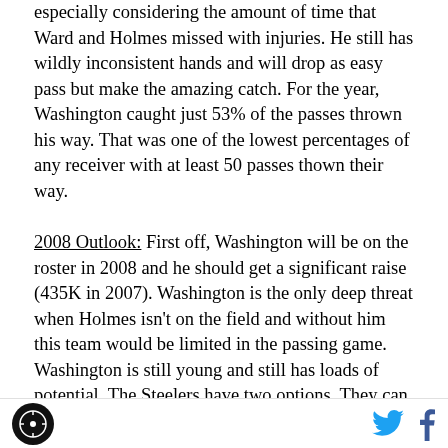especially considering the amount of time that Ward and Holmes missed with injuries. He still has wildly inconsistent hands and will drop as easy pass but make the amazing catch. For the year, Washington caught just 53% of the passes thrown his way. That was one of the lowest percentages of any receiver with at least 50 passes thown their way.
2008 Outlook: First off, Washington will be on the roster in 2008 and he should get a significant raise (435K in 2007). Washington is the only deep threat when Holmes isn't on the field and without him this team would be limited in the passing game. Washington is still young and still has loads of potential. The Steelers have two options. They can
[logo] [twitter] [facebook]